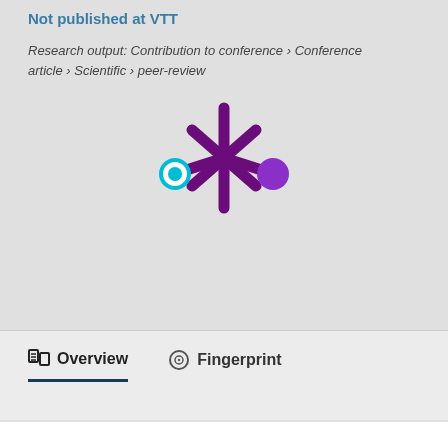Not published at VTT
Research output: Contribution to conference › Conference article › Scientific › peer-review
[Figure (logo): Altmetric donut-style logo: a dark purple asterisk/snowflake shape with a cyan outlined circle on the left and a filled purple circle on the right]
Overview  Fingerprint
We use cookies to analyse and improve our service. Cookie Policy